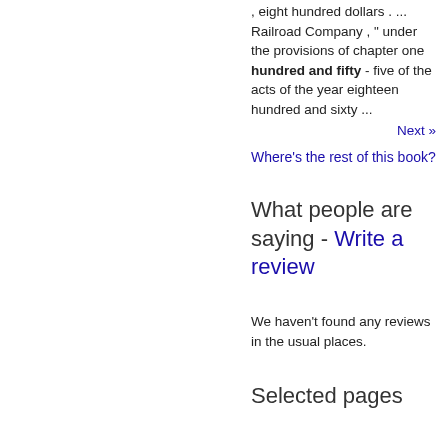, eight hundred dollars . ... Railroad Company , " under the provisions of chapter one hundred and fifty - five of the acts of the year eighteen hundred and sixty ...
Next »
Where's the rest of this book?
What people are saying - Write a review
We haven't found any reviews in the usual places.
Selected pages